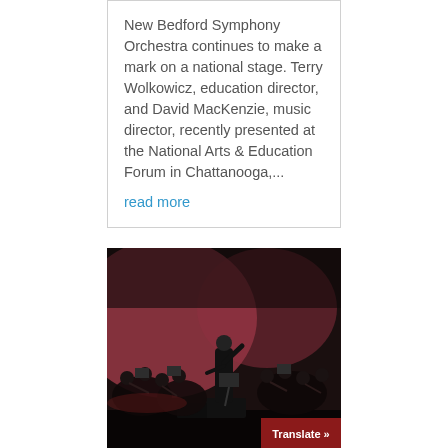New Bedford Symphony Orchestra continues to make a mark on a national stage. Terry Wolkowicz, education director, and David MacKenzie, music director, recently presented at the National Arts & Education Forum in Chattanooga,...
read more
[Figure (photo): Orchestra on stage performing, with a conductor in the center facing away from the camera with one arm raised, surrounded by musicians with string and wind instruments. The stage is lit with warm reddish-pink lighting in the background. A 'Translate »' button overlay appears in the lower right corner.]